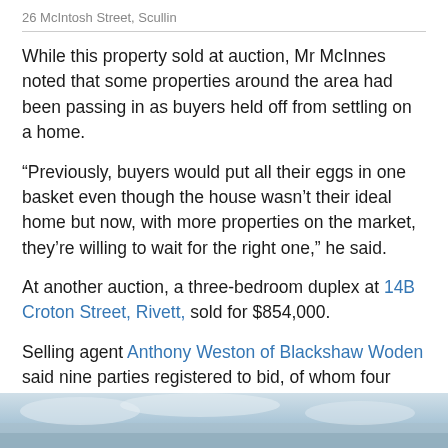26 McIntosh Street, Scullin
While this property sold at auction, Mr McInnes noted that some properties around the area had been passing in as buyers held off from settling on a home.
“Previously, buyers would put all their eggs in one basket even though the house wasn’t their ideal home but now, with more properties on the market, they’re willing to wait for the right one,” he said.
At another auction, a three-bedroom duplex at 14B Croton Street, Rivett, sold for $854,000.
Selling agent Anthony Weston of Blackshaw Woden said nine parties registered to bid, of whom four actively participated in the bidding process.
[Figure (photo): Partial view of a property photo, showing what appears to be an exterior scene with sky and possibly a roof or landscape.]